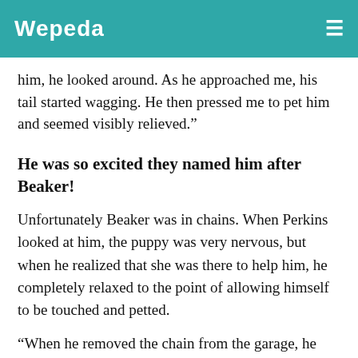Wepeda
him, he looked around. As he approached me, his tail started wagging. He then pressed me to pet him and seemed visibly relieved."
He was so excited they named him after Beaker!
Unfortunately Beaker was in chains. When Perkins looked at him, the puppy was very nervous, but when he realized that she was there to help him, he completely relaxed to the point of allowing himself to be touched and petted.
“When he removed the chain from the garage, he